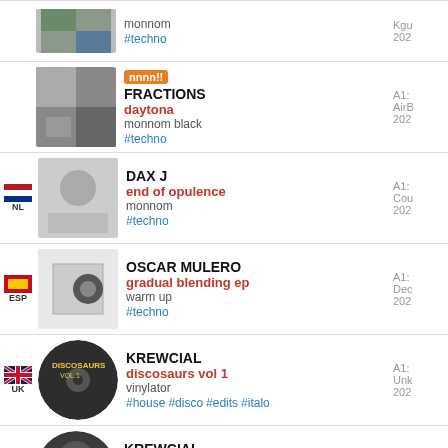monnom | #techno | 202...
FRACTIONS | daytona | monnom black | #techno | 202...
DAX J | end of opulence | monnom | #techno | 202...
OSCAR MULERO | gradual blending ep | warm up | #techno | 202...
KREWCIAL | discosaurs vol 1 | vinylator | #house #disco #edits #italo | 202...
KREWCIAL | girl edits | vinylators | #disco #edit | 202...
KREWICAL | woman edits | vinylators | #house #disco #vocal #nudisco | 202...
AOKI TAKAMASA | ssd ep...